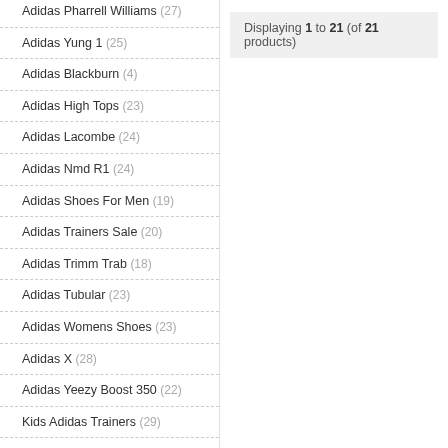Adidas Pharrell Williams (27)
Adidas Yung 1 (25)
Adidas Blackburn (4)
Adidas High Tops (23)
Adidas Lacombe (24)
Adidas Nmd R1 (24)
Adidas Shoes For Men (19)
Adidas Trainers Sale (20)
Adidas Trimm Trab (18)
Adidas Tubular (23)
Adidas Womens Shoes (23)
Adidas X (28)
Adidas Yeezy Boost 350 (22)
Kids Adidas Trainers (29)
Ladies Adidas Trainers (26)
Adidas Beckenbauer (21)
Displaying 1 to 21 (of 21 products)